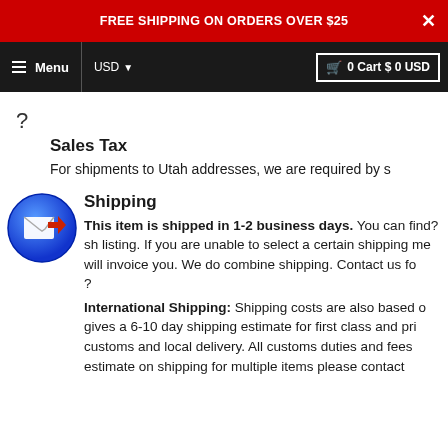FREE SHIPPING ON ORDERS OVER $25
≡ Menu   USD ▾   🛒 0 Cart $ 0 USD
?
Sales Tax
For shipments to Utah addresses, we are required by s
[Figure (illustration): Blue circular icon with a mail/document symbol and a red arrow]
Shipping
This item is shipped in 1-2 business days. You can find?sh listing. If you are unable to select a certain shipping me will invoice you. We do combine shipping. Contact us for ? International Shipping: Shipping costs are also based on gives a 6-10 day shipping estimate for first class and pri customs and local delivery. All customs duties and fees estimate on shipping for multiple items please contact